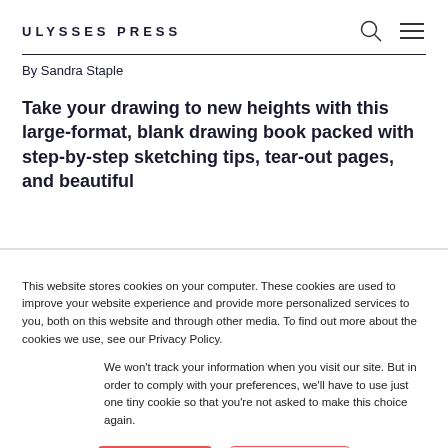ULYSSES PRESS
By Sandra Staple
Take your drawing to new heights with this large-format, blank drawing book packed with step-by-step sketching tips, tear-out pages, and beautiful
This website stores cookies on your computer. These cookies are used to improve your website experience and provide more personalized services to you, both on this website and through other media. To find out more about the cookies we use, see our Privacy Policy.
We won't track your information when you visit our site. But in order to comply with your preferences, we'll have to use just one tiny cookie so that you're not asked to make this choice again.
Accept
Decline